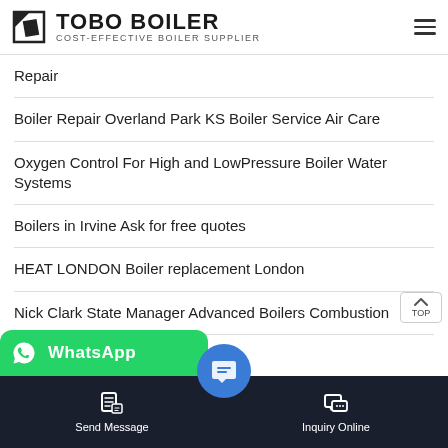TOBO BOILER — COST-EFFECTIVE BOILER SUPPLIER
Repair
Boiler Repair Overland Park KS Boiler Service Air Care
Oxygen Control For High and LowPressure Boiler Water Systems
Boilers in Irvine Ask for free quotes
HEAT LONDON Boiler replacement London
Nick Clark State Manager Advanced Boilers Combustion
Combustion Breakd... Servi...
[Figure (logo): WhatsApp green button bar at bottom left with WhatsApp logo and text]
[Figure (screenshot): Bottom navigation bar with Send Message and Inquiry Online buttons, and a circular message icon in the center]